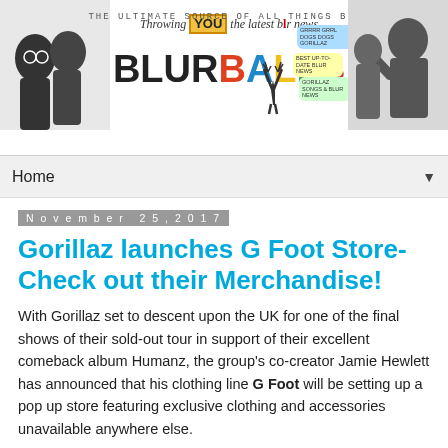[Figure (illustration): Blurballs website header banner: black-and-white photo of Blur band members on left and right sides, colorful BLURBALLS logo in center with tagline 'THE ULTIMATE SOURCE OF ALL THINGS BLUR' and subtitle 'Throwing YOU the latest blr news', speech bubbles and deer silhouette decorations]
Home ▼
November 25, 2017
Gorillaz launches G Foot Store- Check out their Merchandise!
With Gorillaz set to descent upon the UK for one of the final shows of their sold-out tour in support of their excellent comeback album Humanz, the group's co-creator Jamie Hewlett has announced that his clothing line G Foot will be setting up a pop up store featuring exclusive clothing and accessories unavailable anywhere else.